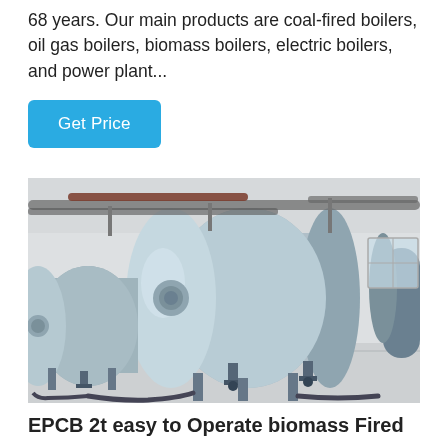68 years. Our main products are coal-fired boilers, oil gas boilers, biomass boilers, electric boilers, and power plant...
Get Price
[Figure (photo): Industrial boilers in a factory setting — two large horizontal cylindrical boilers with blue-grey casing, pipes, valves, and supports on a concrete floor inside a white-walled facility.]
EPCB 2t easy to Operate biomass Fired